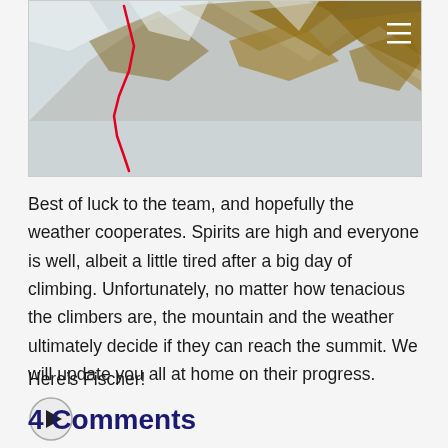[Figure (map): Aerial/satellite view of a snow-covered mountain with a red route line traced on the left side and a hamburger menu icon in the top right corner.]
Best of luck to the team, and hopefully the weather cooperates. Spirits are high and everyone is well, albeit a little tired after a big day of climbing. Unfortunately, no matter how tenacious the climbers are, the mountain and the weather ultimately decide if they can reach the summit. We will update you all at home on their progress.
Here’s Fischer!
[Figure (other): A circular play button icon.]
4 Comments